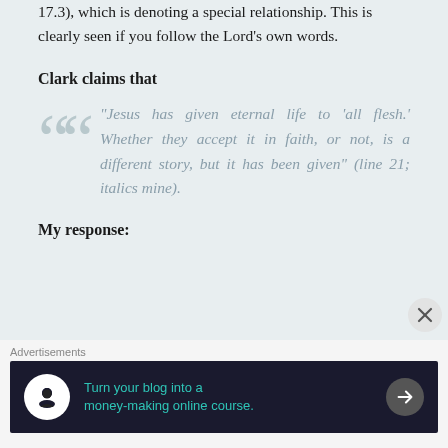17.3), which is denoting a special relationship. This is clearly seen if you follow the Lord's own words.
Clark claims that
“Jesus has given eternal life to ‘all flesh.’ Whether they accept it in faith, or not, is a different story, but it has been given” (line 21; italics mine).
My response:
[Figure (infographic): Advertisement banner: dark background with Teachable logo icon and text 'Turn your blog into a money-making online course.' with arrow button]
Advertisements